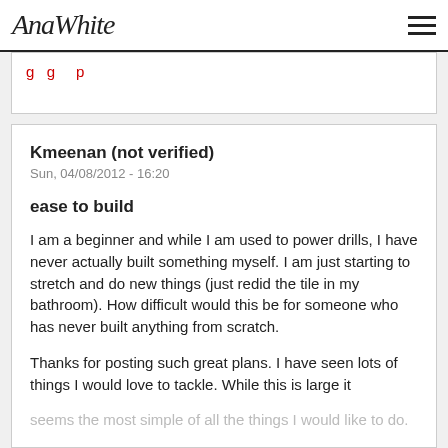AnaWhite
Kmeenan (not verified)
Sun, 04/08/2012 - 16:20
ease to build
I am a beginner and while I am used to power drills, I have never actually built something myself. I am just starting to stretch and do new things (just redid the tile in my bathroom). How difficult would this be for someone who has never built anything from scratch.
Thanks for posting such great plans. I have seen lots of things I would love to tackle. While this is large it seems the most simple of all the things I would like to do.